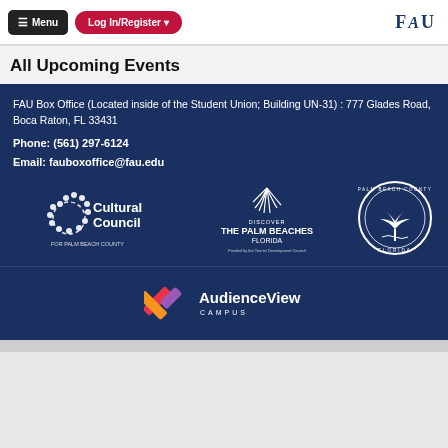☰ Menu  Log In/Register ▾  FAU
All Upcoming Events
FAU Box Office (Located inside of the Student Union; Building UN-31) : 777 Glades Road, Boca Raton, FL 33431
Phone: (561) 297-6124
Email: fauboxoffice@fau.edu
[Figure (logo): Cultural Council for Palm Beach County logo (white on dark blue)]
[Figure (logo): Discover The Palm Beaches Florida logo with palm frond, funded by the Tourist Development Council]
[Figure (logo): Palm Beach County Florida circular seal logo (white on dark blue)]
[Figure (logo): AudienceView Campus logo with colored X mark]